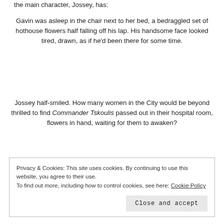the main character, Jossey, has:
Gavin was asleep in the chair next to her bed, a bedraggled set of hothouse flowers half falling off his lap. His handsome face looked tired, drawn, as if he'd been there for some time.
Jossey half-smiled. How many women in the City would be beyond thrilled to find Commander Tskoulis passed out in their hospital room, flowers in hand, waiting for them to awaken?
Privacy & Cookies: This site uses cookies. By continuing to use this website, you agree to their use.
To find out more, including how to control cookies, see here: Cookie Policy
Close and accept